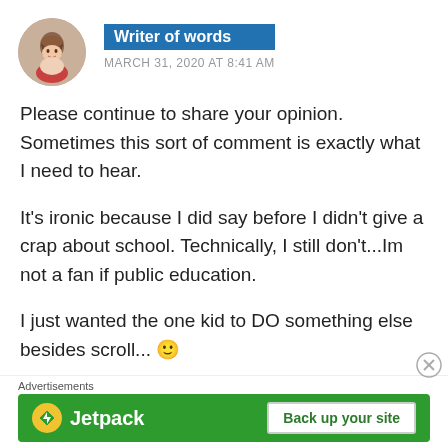[Figure (photo): Circular avatar photo of a woman with dark hair]
Writer of words
MARCH 31, 2020 AT 8:41 AM
Please continue to share your opinion. Sometimes this sort of comment is exactly what I need to hear.
It's ironic because I did say before I didn't give a crap about school. Technically, I still don't...Im not a fan if public education.
I just wanted the one kid to DO something else besides scroll... 🙂
Advertisements
[Figure (screenshot): Jetpack advertisement banner with 'Back up your site' button on green background]